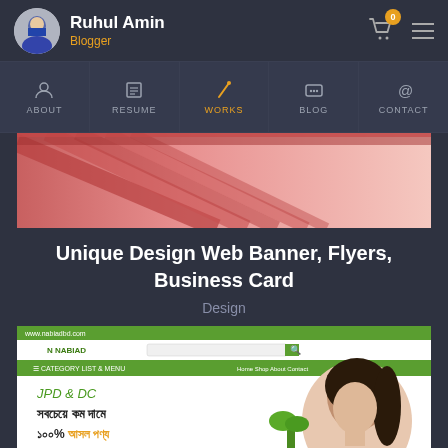Ruhul Amin — Blogger
[Figure (screenshot): Navigation bar with icons: ABOUT, RESUME, WORKS (active in orange), BLOG, CONTACT]
[Figure (photo): Architecture banner image showing pink/red building columns]
Unique Design Web Banner, Flyers, Business Card
Design
[Figure (screenshot): Screenshot of Nabiad Distribution Ltd website with Bengali text: JPD & DC, সবচেয়ে কম দামে, ১০০% আসল পণ্য, and a woman's portrait]